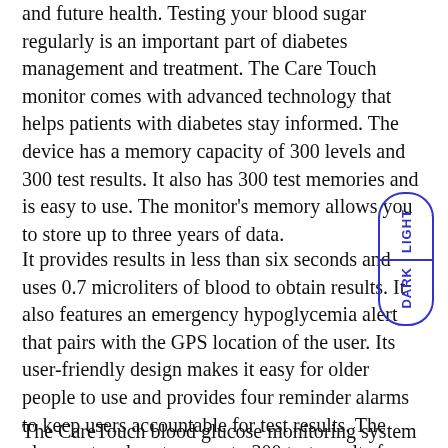and future health. Testing your blood sugar regularly is an important part of diabetes management and treatment. The Care Touch monitor comes with advanced technology that helps patients with diabetes stay informed. The device has a memory capacity of 300 levels and 300 test results. It also has 300 test memories and is easy to use. The monitor's memory allows you to store up to three years of data.
It provides results in less than six seconds and uses 0.7 microliters of blood to obtain results. It also features an emergency hypoglycemia alert that pairs with the GPS location of the user. Its user-friendly design makes it easy for older people to use and provides four reminder alarms to keep users accountable for test results. The glucometer also stores up to 300 test results for convenient diabetes management.
The CareTouch blood glucose monitoring system comes